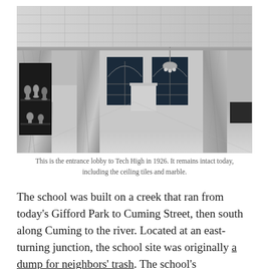[Figure (photo): Black and white photograph of the entrance lobby to Tech High in 1926, showing ornate marble walls, columns, arched windows, a chandelier, trophy case on the left, and decorative ceiling tiles.]
This is the entrance lobby to Tech High in 1926. It remains intact today, including the ceiling tiles and marble.
The school was built on a creek that ran from today's Gifford Park to Cuming Street, then south along Cuming to the river. Located at an east-turning junction, the school site was originally a dump for neighbors' trash. The school's